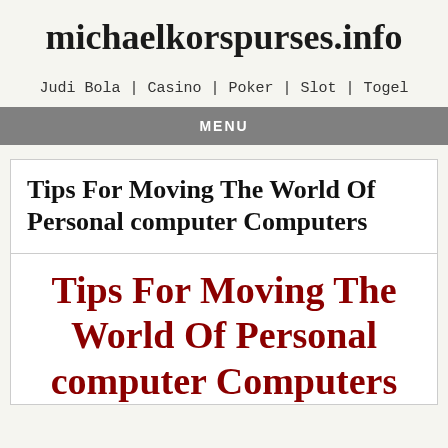michaelkorspurses.info
Judi Bola | Casino | Poker | Slot | Togel
MENU
Tips For Moving The World Of Personal computer Computers
Tips For Moving The World Of Personal computer Computers